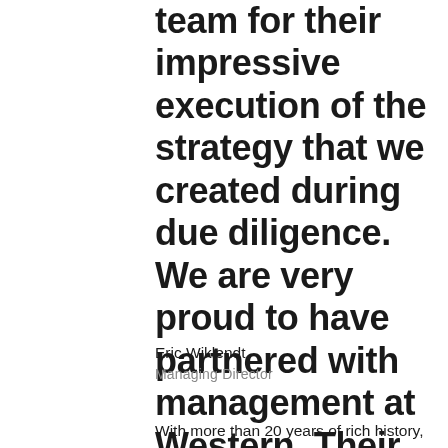team for their impressive execution of the strategy that we created during due diligence. We are very proud to have partnered with management at Western. Their creative solutions to extract as much value as possible during the completion of this deal was unparalleled.
Eric Wiklendt
Managing Director
With more than 20 years of rich history,